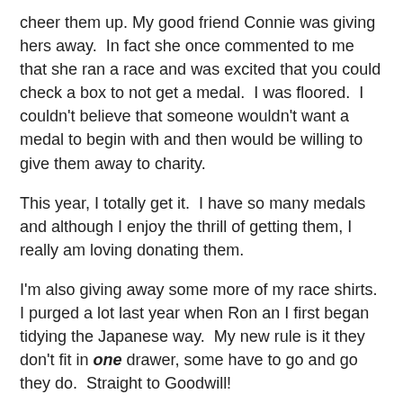cheer them up. My good friend Connie was giving hers away.  In fact she once commented to me that she ran a race and was excited that you could check a box to not get a medal.  I was floored.  I couldn't believe that someone wouldn't want a medal to begin with and then would be willing to give them away to charity.
This year, I totally get it.  I have so many medals and although I enjoy the thrill of getting them, I really am loving donating them.
I'm also giving away some more of my race shirts.  I purged a lot last year when Ron an I first began tidying the Japanese way.  My new rule is it they don't fit in one drawer, some have to go and go they do.  Straight to Goodwill!
I'm really looking forward to the other 2 beach races in the